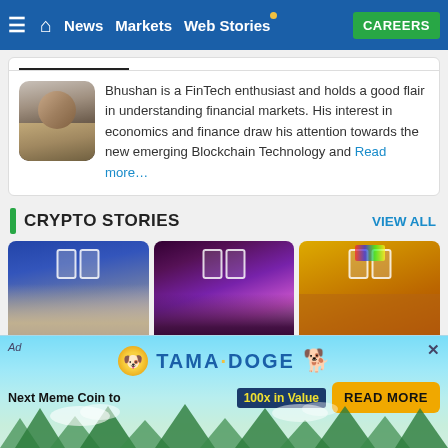News | Markets | Web Stories | CAREERS
[Figure (photo): Author photo placeholder - man smiling]
Bhushan is a FinTech enthusiast and holds a good flair in understanding financial markets. His interest in economics and finance draw his attention towards the new emerging Blockchain Technology and Read more…
CRYPTO STORIES
VIEW ALL
[Figure (photo): Three crypto story thumbnail images: man's face, woman performing, cartoon ape with crown]
[Figure (advertisement): Tamadoge ad banner: Next Meme Coin to 100x in Value - READ MORE button]